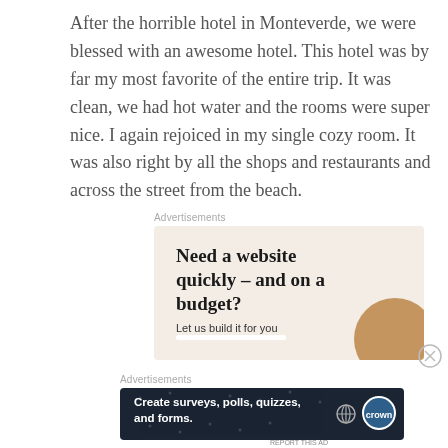After the horrible hotel in Monteverde, we were blessed with an awesome hotel. This hotel was by far my most favorite of the entire trip. It was clean, we had hot water and the rooms were super nice. I again rejoiced in my single cozy room. It was also right by all the shops and restaurants and across the street from the beach.
Advertisements
[Figure (infographic): Advertisement: Need a website quickly – and on a budget? Let us build it for you. Beige background with circular image.]
Advertisements
[Figure (infographic): Advertisement: Create surveys, polls, quizzes, and forms. Dark navy background with WordPress and Crown&Soul logos.]